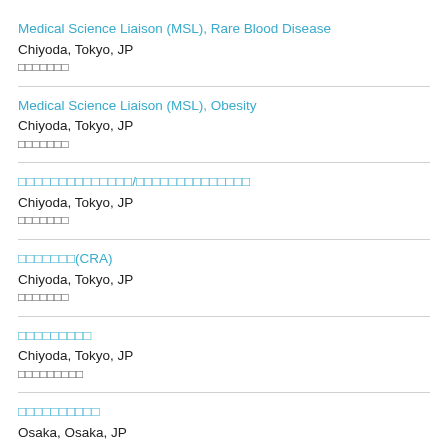Medical Science Liaison (MSL), Rare Blood Disease
Chiyoda, Tokyo, JP
□□□□□□□
Medical Science Liaison (MSL), Obesity
Chiyoda, Tokyo, JP
□□□□□□□
□□□□□□□□□□□□□□/□□□□□□□□□□□□□□
Chiyoda, Tokyo, JP
□□□□□□□
□□□□□□□(CRA)
Chiyoda, Tokyo, JP
□□□□□□□
□□□□□□□□□
Chiyoda, Tokyo, JP
□□□□□□□□□
□□□□□□□□□□
Osaka, Osaka, JP
□□
□□□□□□□□□□□□□
Koriyama, Fukushima, JP